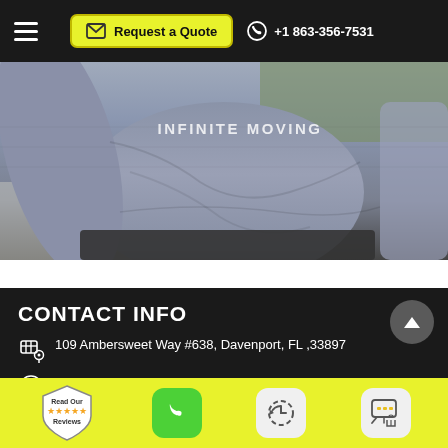Request a Quote | +1 863-356-7531
[Figure (photo): Person wearing a gray 'Infinite Moving' branded t-shirt, torso visible, outdoors]
CONTACT INFO
109 Ambersweet Way #638, Davenport, FL ,33897
Phone: (863) 225-0050
[Figure (infographic): Bottom bar with Read Our Reviews badge, phone icon, clock/history icon, and chat/SMS icon]